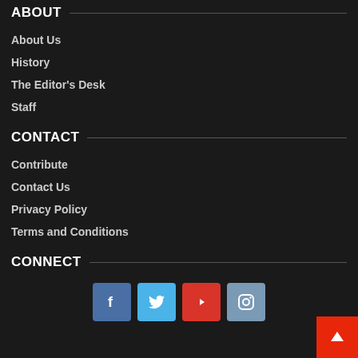ABOUT
About Us
History
The Editor's Desk
Staff
CONTACT
Contribute
Contact Us
Privacy Policy
Terms and Conditions
CONNECT
[Figure (infographic): Social media icons: Facebook (blue), Twitter (light blue), YouTube (red), Instagram (steel blue)]